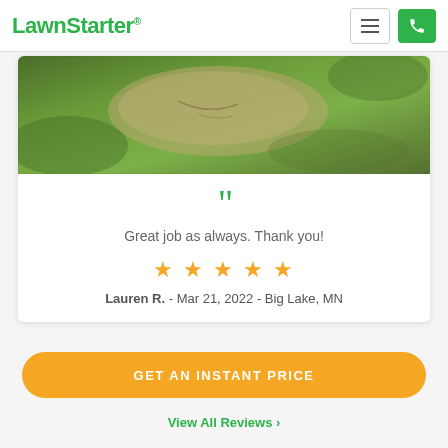LawnStarter
[Figure (photo): Close-up photo of green grass lawn with a stone or rock visible, viewed from above]
Great job as always. Thank you!
★★★★★
Lauren R. - Mar 21, 2022 - Big Lake, MN
GET AN INSTANT PRICE
View All Reviews ›